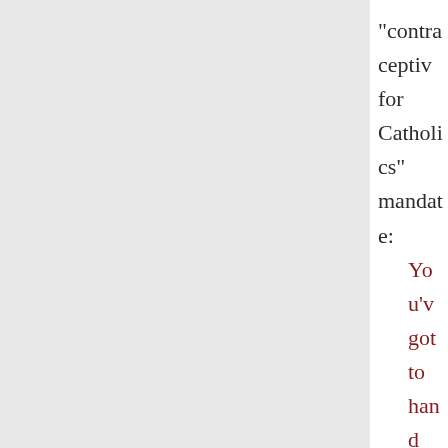"contraceptive for Catholics" mandate:
You've got to hand it to liberals. They stick to a script. On the contraception Catholic Church flap,